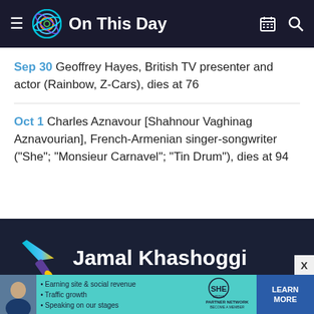On This Day
Sep 30 Geoffrey Hayes, British TV presenter and actor (Rainbow, Z-Cars), dies at 76
Oct 1 Charles Aznavour [Shahnour Vaghinag Aznavourian], French-Armenian singer-songwriter ("She"; "Monsieur Carnavel"; "Tin Drum"), dies at 94
[Figure (illustration): Knife/scalpel icon with blue, yellow gradient colors and a yellow drop, on dark background, next to the name Jamal Khashoggi]
Jamal Khashoggi
Oct 2 Jamal Khashoggi, Saudi Arabian dissident, author, Washington Post columnist and editor in
[Figure (advertisement): SHE Partner Network advertisement with woman photo, bullet points: Earning site & social revenue, Traffic growth, Speaking on our stages. LEARN MORE button.]